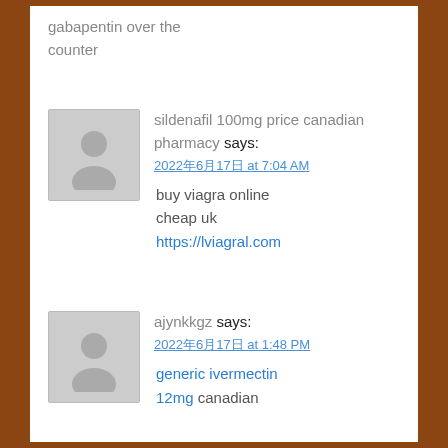gabapentin over the counter
sildenafil 100mg price canadian pharmacy says:
2022年6月17日 at 7:04 AM
buy viagra online cheap uk
https://lviagral.com
ajynkkgz says:
2022年6月17日 at 1:48 PM
generic ivermectin 12mg canadian